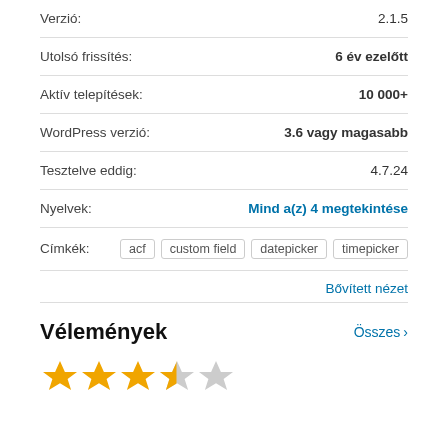Verzió: 2.1.5
Utolsó frissítés: 6 év ezelőtt
Aktív telepítések: 10 000+
WordPress verzió: 3.6 vagy magasabb
Tesztelve eddig: 4.7.24
Nyelvek: Mind a(z) 4 megtekintése
Címkék: acf  custom field  datepicker  timepicker
Bővített nézet
Vélemények
Összes >
[Figure (other): 3.5 out of 5 stars rating — 3 full stars, 1 half star, 1 empty star]